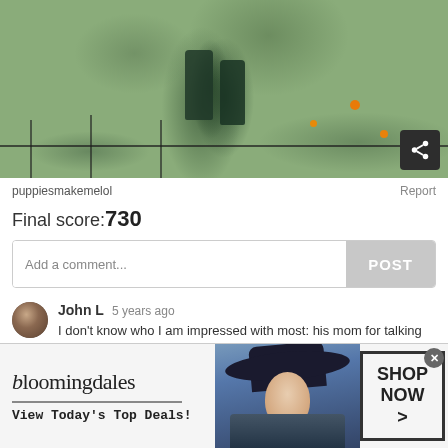[Figure (photo): Outdoor garden/yard scene with green foliage, trees, wrapped dark plants, a fence in the foreground, and orange fruits/flowers visible. A share icon button is in the bottom-right corner.]
puppiesmakemelol
Report
Final score:730
Add a comment...
POST
John L  5 years ago
I don't know who I am impressed with most: his mom for talking them into helping her; or them for rolling up their sleeves and tucking in their ties. :D
[Figure (photo): Bloomingdale's advertisement banner showing the Bloomingdales logo, 'View Today's Top Deals!' tagline, a model wearing a large dark hat, and a 'SHOP NOW >' button.]